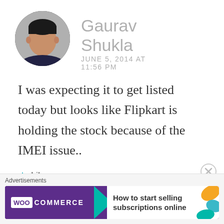[Figure (photo): Circular profile photo of Gaurav Shukla, a man in a dark shirt]
Gaurav Shukla
JUNE 5, 2014 AT 11:56 PM
I was expecting it to get listed today but looks like Flipkart is holding the stock because of the IMEI issue..
Like
Advertisements
[Figure (logo): WooCommerce advertisement banner: purple background with WooCommerce logo, teal arrow, and text 'How to start selling subscriptions online']